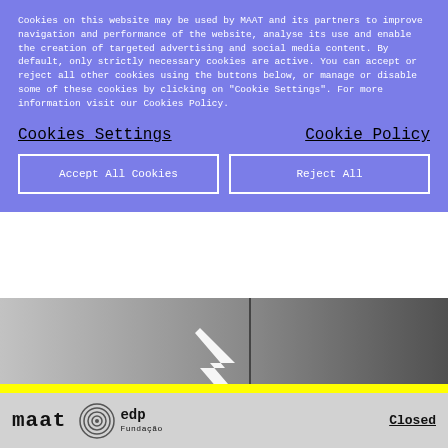Cookies on this website may be used by MAAT and its partners to improve navigation and performance of the website, analyse its use and enable the creation of targeted advertising and social media content. By default, only strictly necessary cookies are active. You can accept or reject all other cookies using the buttons below, or manage or disable some of these cookies by clicking on "Cookie Settings". For more information visit our Cookies Policy.
Cookies Settings
Cookie Policy
Accept All Cookies
Reject All
[Figure (photo): Architectural photo showing geometric white angular shapes or arrows against grey concrete surfaces]
Subscribe Newsletter
[Figure (logo): MAAT museum logo in bold monospace text]
[Figure (logo): EDP Fundação logo with circular spiral icon]
Closed